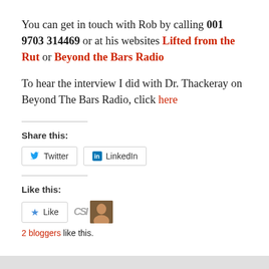You can get in touch with Rob by calling 001 9703 314469 or at his websites Lifted from the Rut or Beyond the Bars Radio
To hear the interview I did with Dr. Thackeray on Beyond The Bars Radio, click here
Share this:
Twitter  LinkedIn
Like this:
Like  2 bloggers like this.